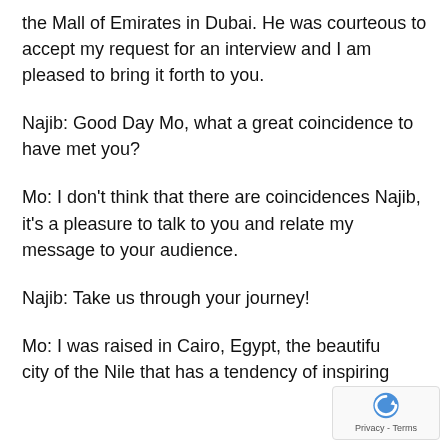the Mall of Emirates in Dubai. He was courteous to accept my request for an interview and I am pleased to bring it forth to you.
Najib: Good Day Mo, what a great coincidence to have met you?
Mo: I don't think that there are coincidences Najib, it's a pleasure to talk to you and relate my message to your audience.
Najib: Take us through your journey!
Mo: I was raised in Cairo, Egypt, the beautiful city of the Nile that has a tendency of inspiring